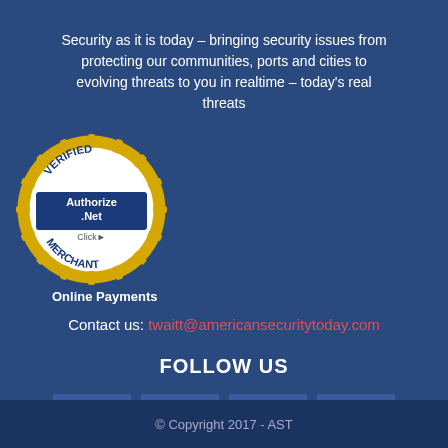Security as it is today – bringing security issues from protecting our communities, ports and cities to evolving threats to you in realtime – today's real threats
[Figure (logo): Authorize.Net Verified Merchant Click badge — circular gold seal with blue text]
Online Payments
Contact us: twaitt@americansecuritytoday.com
FOLLOW US
[Figure (infographic): Four social media icon buttons: Facebook, LinkedIn, Twitter, YouTube]
© Copyright 2017 - AST